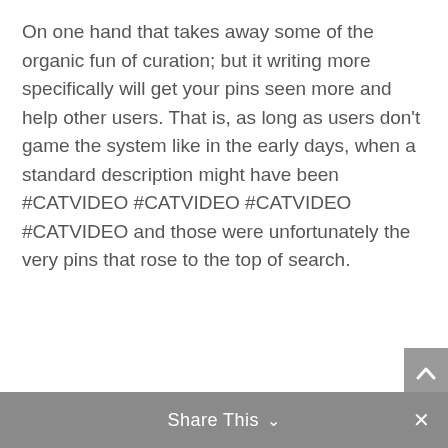On one hand that takes away some of the organic fun of curation; but it writing more specifically will get your pins seen more and help other users. That is, as long as users don't game the system like in the early days, when a standard description might have been #CATVIDEO #CATVIDEO #CATVIDEO #CATVIDEO and those were unfortunately the very pins that rose to the top of search.
Share This ∨  ×